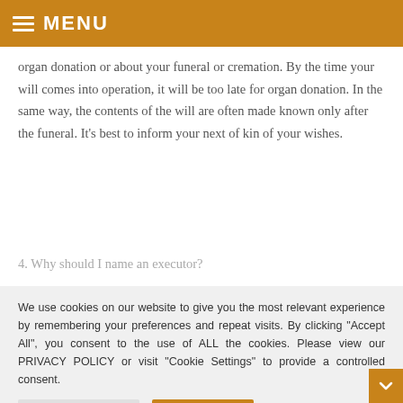MENU
organ donation or about your funeral or cremation. By the time your will comes into operation, it will be too late for organ donation. In the same way, the contents of the will are often made known only after the funeral. It’s best to inform your next of kin of your wishes.
4. Why should I name an executor?
We use cookies on our website to give you the most relevant experience by remembering your preferences and repeat visits. By clicking “Accept All”, you consent to the use of ALL the cookies. Please view our PRIVACY POLICY or visit “Cookie Settings” to provide a controlled consent.